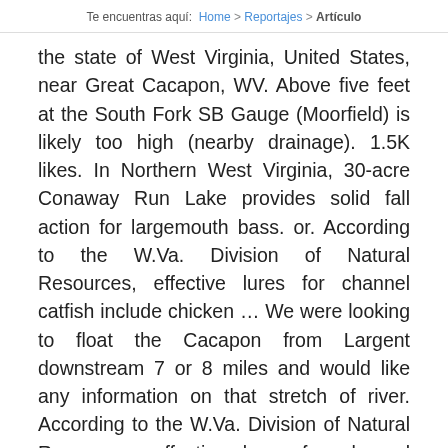Te encuentras aquí:  Home  >  Reportajes  >  Artículo
the state of West Virginia, United States, near Great Cacapon, WV. Above five feet at the South Fork SB Gauge (Moorfield) is likely too high (nearby drainage). 1.5K likes. In Northern West Virginia, 30-acre Conaway Run Lake provides solid fall action for largemouth bass. or. According to the W.Va. Division of Natural Resources, effective lures for channel catfish include chicken … We were looking to float the Cacapon from Largent downstream 7 or 8 miles and would like any information on that stretch of river. According to the W.Va. Division of Natural Resources, effective lures for channel catfish include chicken livers and natural baits such minnows and night crawlers. PSA on north side of bridge on the left … Cacapon … The